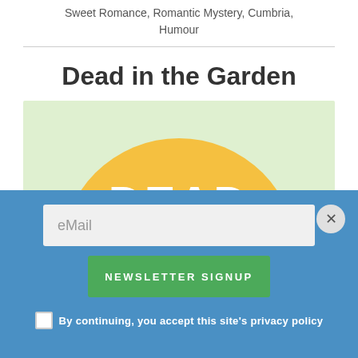Sweet Romance, Romantic Mystery, Cumbria, Humour
Dead in the Garden
[Figure (illustration): Book cover illustration for 'Dead in the Garden' featuring a light green background, a large golden-yellow circle (sun), white bold text reading 'DEAD', and illustrated cartoon characters partially visible on sides.]
eMail
NEWSLETTER SIGNUP
By continuing, you accept this site's privacy policy